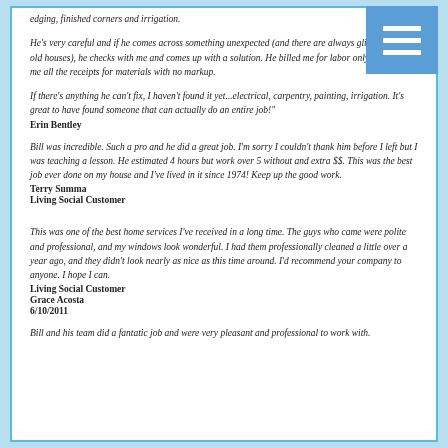edging, finished corners and irrigation.
He's very careful and if he comes across something unexpected (and there are always glitches with old houses), he checks with me and comes up with a solution. He billed me for labor only and gave me all the receipts for materials with no markup.
If there's anything he can't fix, I haven't found it yet...electrical, carpentry, painting, irrigation. It's great to have found someone that can actually do an entire job!"
Erin Bentley
Bill was incredible. Such a pro and he did a great job. I'm sorry I couldn't thank him before I left but I was teaching a lesson. He estimated 4 hours but work over 5 without and extra $$. This was the best job ever done on my house and I've lived in it since 1974! Keep up the good work.
Terry Summa
Living Social Customer
This was one of the best home services I've received in a long time. The guys who came were polite and professional, and my windows look wonderful. I had them professionally cleaned a little over a year ago, and they didn't look nearly as nice as this time around. I'd recommend your company to anyone. I hope I can.
Living Social Customer
Grace Acosta
6/10/2011
Bill and his team did a fantatic job and were very pleasant and professional to work with.